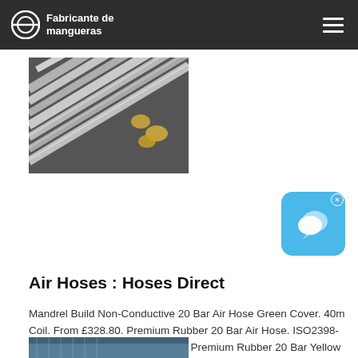Fabricante de mangueras
[Figure (photo): Multiple stainless steel flexible hoses with fittings arranged diagonally on a dark background]
[Figure (other): Blue chat widget icon with speech bubbles and an X close button]
Air Hoses : Hoses Direct
Mandrel Build Non-Conductive 20 Bar Air Hose Green Cover. 40m Coil. From £328.80. Premium Rubber 20 Bar Air Hose. ISO2398-4A. Mercury Air 25. From £88.00. Premium Rubber 20 Bar Yellow Air Hose. ISO2398-4A. Mercury Air 20 Yellow.
[Figure (photo): Blue and silver flexible hose or mesh product partially visible at the bottom of the page]